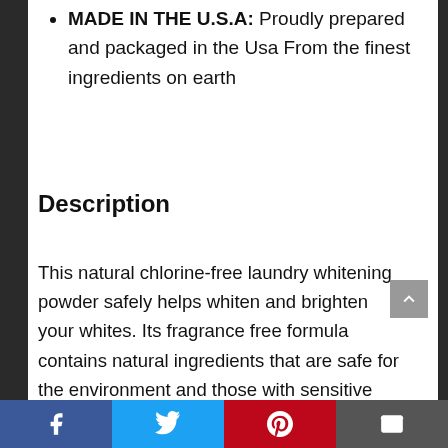MADE IN THE U.S.A: Proudly prepared and packaged in the Usa From the finest ingredients on earth
Description
This natural chlorine-free laundry whitening powder safely helps whiten and brighten your whites. Its fragrance free formula contains natural ingredients that are safe for the environment and those with sensitive skin. This product is all natural, safe and made with food-grade and plant-based ingredients...
Social share bar: Facebook, Twitter, Pinterest, Email